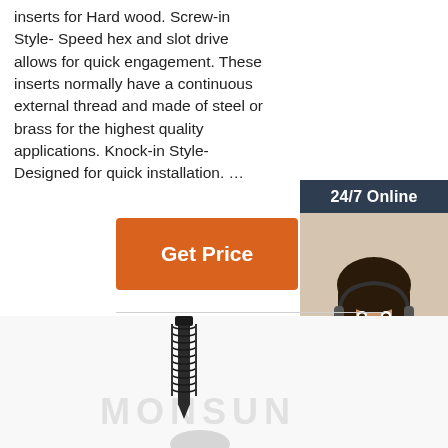inserts for Hard wood. Screw-in Style- Speed hex and slot drive allows for quick engagement. These inserts normally have a continuous external thread and made of steel or brass for the highest quality applications. Knock-in Style- Designed for quick installation. …
[Figure (other): Orange 'Get Price' button]
[Figure (photo): Advertisement sidebar: '24/7 Online' header, photo of a woman with headset smiling, 'Click here for free chat!' text, and orange QUOTATION button]
[Figure (photo): Photo of a dark threaded screw insert held in a hand, with watermark text 'MONSUN' in light gray]